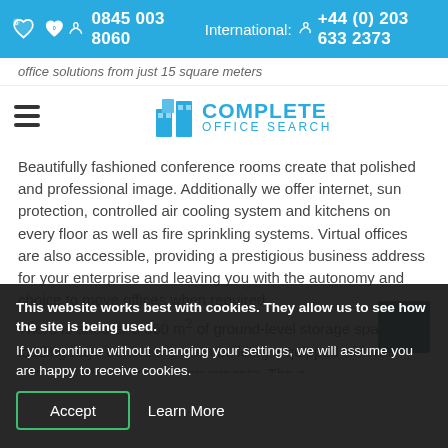0845 003 8060   International: +44 (0) 203 633 2373
office solutions from just 15 square meters
[Figure (logo): Complete Office Search logo with blue building icon and text]
Beautifully fashioned conference rooms create that polished and professional image.  Additionally we offer internet, sun protection, controlled air cooling system and kitchens on every floor as well as fire sprinkling systems. Virtual offices are also accessible, providing a prestigious business address for your enterprise and leaving you with the autonomy and choice to move offices when required. There is another 3,360 m² of ground-level storage space. The loading bays behind the main building, equipped with roll doors for efficient goods movements. The s
This website works best with cookies. They allow us to see how the site is being used.
If you continue without changing your settings, we will assume you are happy to receive cookies.